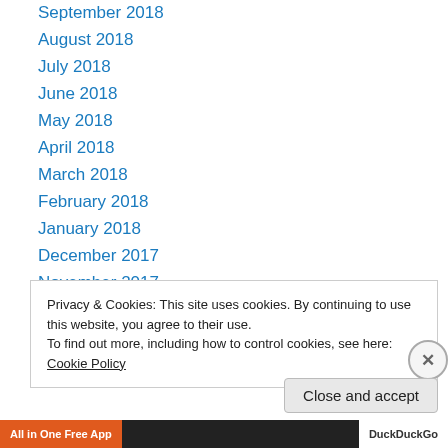September 2018
August 2018
July 2018
June 2018
May 2018
April 2018
March 2018
February 2018
January 2018
December 2017
November 2017
October 2017
September 2017
Privacy & Cookies: This site uses cookies. By continuing to use this website, you agree to their use. To find out more, including how to control cookies, see here: Cookie Policy
Close and accept